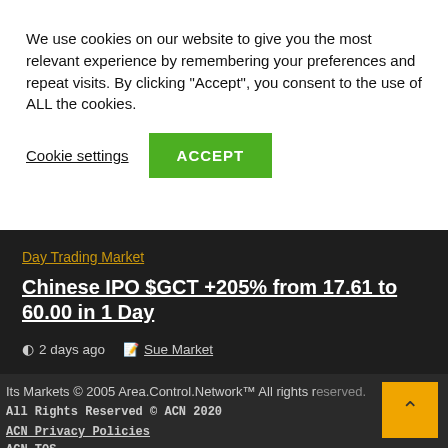We use cookies on our website to give you the most relevant experience by remembering your preferences and repeat visits. By clicking “Accept”, you consent to the use of ALL the cookies.
Cookie settings | ACCEPT
Day Trading Market
Chinese IPO $GCT +205% from 17.61 to 60.00 in 1 Day
2 days ago   Sue Market
Its Markets © 2005 Area.Control.Network™ All rights reserved.
All Rights Reserved © ACN 2020
ACN Privacy Policies
ACN TOS